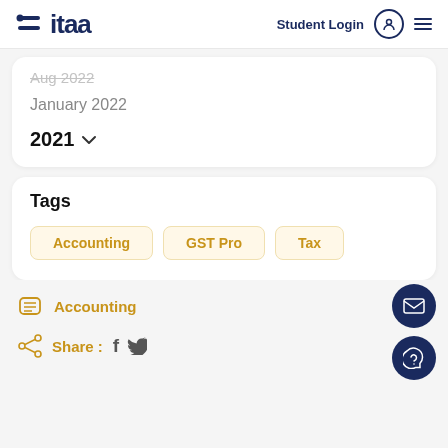itaa — Student Login
Aug 2022
January 2022
2021
Tags
Accounting
GST Pro
Tax
Accounting
Share : (Facebook) (Twitter)